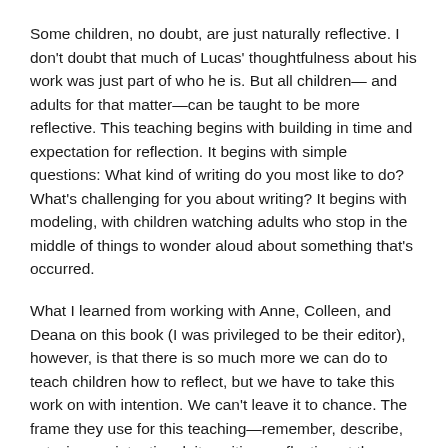Some children, no doubt, are just naturally reflective. I don't doubt that much of Lucas' thoughtfulness about his work was just part of who he is. But all children— and adults for that matter—can be taught to be more reflective. This teaching begins with building in time and expectation for reflection. It begins with simple questions: What kind of writing do you most like to do? What's challenging for you about writing? It begins with modeling, with children watching adults who stop in the middle of things to wonder aloud about something that's occurred.
What I learned from working with Anne, Colleen, and Deana on this book (I was privileged to be their editor), however, is that there is so much more we can do to teach children how to reflect, but we have to take this work on with intention. We can't leave it to chance. The frame they use for this teaching—remember, describe, act—is very intentional, it positions reflection at the center of writing workshop, and it represents a powerful